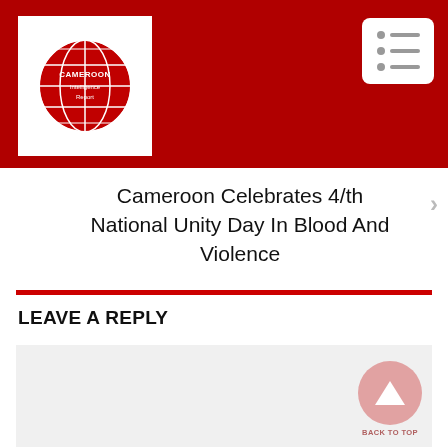Cameroon Intelligence Report — header with logo and menu
Cameroon Celebrates 47th National Unity Day In Blood And Violence
LEAVE A REPLY
[Figure (other): Comment text area input box (grey background), with back-to-top button (pink circle with upward arrow)]